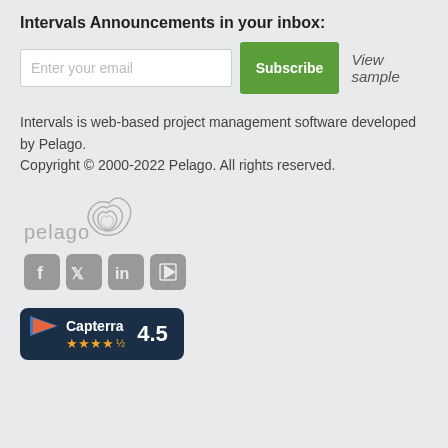Intervals Announcements in your inbox:
[Figure (screenshot): Email subscription form with text input field reading 'Enter your email', a green Subscribe button, and 'View sample' link]
Intervals is web-based project management software developed by Pelago.
Copyright © 2000-2022 Pelago. All rights reserved.
[Figure (logo): Pelago logo: stylized triangular contour lines icon in grey with 'pelago' wordmark in grey lowercase text]
[Figure (infographic): Social media icons: Facebook, Twitter, LinkedIn, YouTube — all in grey rounded square icons]
[Figure (logo): Capterra badge with dark navy background, flag/pennant icon, 'Capterra' text, orange star rating, and '4.5' score]